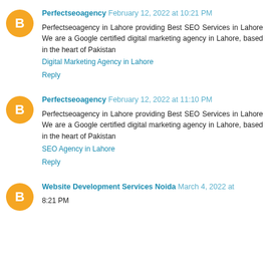Perfectseoagency February 12, 2022 at 10:21 PM
Perfectseoagency in Lahore providing Best SEO Services in Lahore We are a Google certified digital marketing agency in Lahore, based in the heart of Pakistan
Digital Marketing Agency in Lahore
Reply
Perfectseoagency February 12, 2022 at 11:10 PM
Perfectseoagency in Lahore providing Best SEO Services in Lahore We are a Google certified digital marketing agency in Lahore, based in the heart of Pakistan
SEO Agency in Lahore
Reply
Website Development Services Noida March 4, 2022 at 8:21 PM